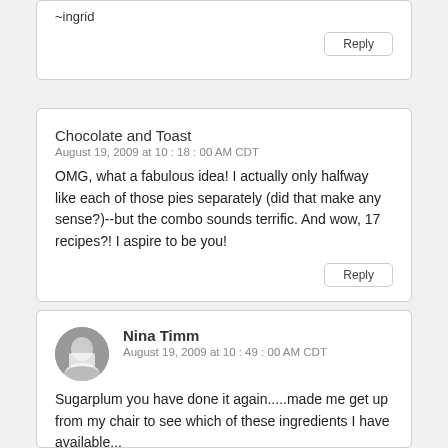~ingrid
Reply
Chocolate and Toast
August 19, 2009 at 10:18:00 AM CDT
OMG, what a fabulous idea! I actually only halfway like each of those pies separately (did that make any sense?)--but the combo sounds terrific. And wow, 17 recipes?! I aspire to be you!
Reply
Nina Timm
August 19, 2009 at 10:49:00 AM CDT
Sugarplum you have done it again.....made me get up from my chair to see which of these ingredients I have available...